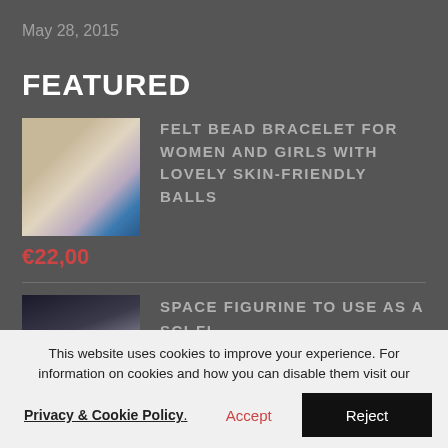May 28, 2015
FEATURED
[Figure (photo): Photo of a felt bead bracelet worn on a wrist, with colorful beads visible]
FELT BEAD BRACELET FOR WOMEN AND GIRLS WITH LOVELY SKIN-FRIENDLY BALLS
€22,00
[Figure (photo): Photo of a space figurine, a spiral/galaxy-shaped decorative object]
SPACE FIGURINE TO USE AS A SCI-FI HOME DECOR OR COSMIC COLLECTIBLE
This website uses cookies to improve your experience. For information on cookies and how you can disable them visit our Privacy & Cookie Policy.
Accept
Reject